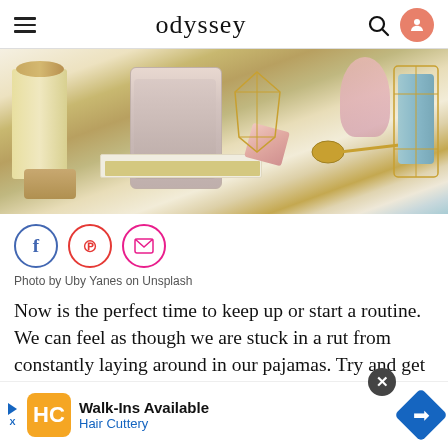odyssey
[Figure (photo): Flat-lay photo of spa/bath items: a white candle with dried flowers, a glass jar filled with pink bath salts, a geometric gold wire vase, a pink crystal, a gold measuring spoon, and a blue jar in a gold wire holder, all on a white surface with gold accents.]
Photo by Uby Yanes on Unsplash
Now is the perfect time to keep up or start a routine. We can feel as though we are stuck in a rut from constantly laying around in our pajamas. Try and get yourself up, showered, and spend time on you. Brush your teeth twice a day, bust out those sheet masks, put on anything other than your old t-shirt and sweatpants, and treat yourself